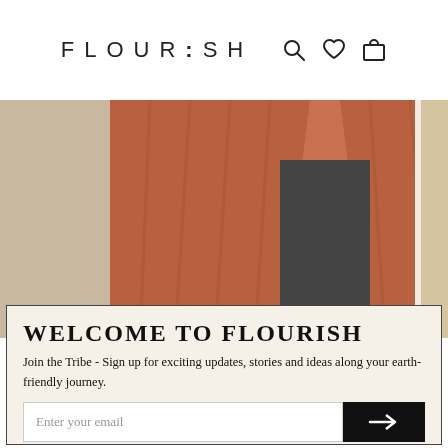FLOURISH
[Figure (photo): Fashion photo showing a woman wearing a rust/terracotta open cardigan over a dark outfit, cropped to torso level. A second partial photo is visible on the right edge.]
WELCOME TO FLOURISH
Join the Tribe - Sign up for exciting updates, stories and ideas along your earth-friendly journey.